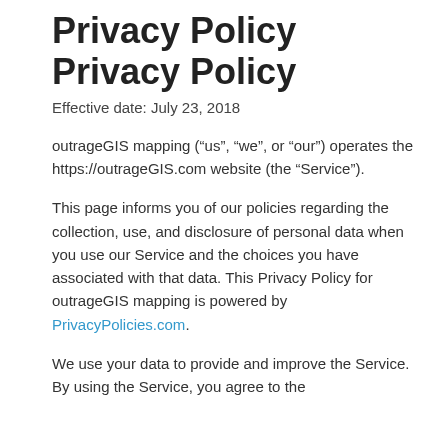Privacy Policy
Privacy Policy
Effective date: July 23, 2018
outrageGIS mapping (“us”, “we”, or “our”) operates the https://outrageGIS.com website (the “Service”).
This page informs you of our policies regarding the collection, use, and disclosure of personal data when you use our Service and the choices you have associated with that data. This Privacy Policy for outrageGIS mapping is powered by PrivacyPolicies.com.
We use your data to provide and improve the Service. By using the Service, you agree to the